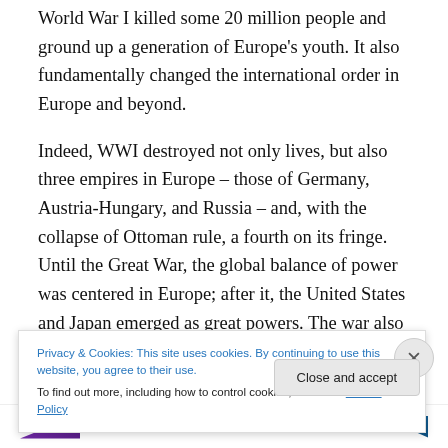World War I killed some 20 million people and ground up a generation of Europe's youth. It also fundamentally changed the international order in Europe and beyond.
Indeed, WWI destroyed not only lives, but also three empires in Europe – those of Germany, Austria-Hungary, and Russia – and, with the collapse of Ottoman rule, a fourth on its fringe. Until the Great War, the global balance of power was centered in Europe; after it, the United States and Japan emerged as great powers. The war also ushered in the Bolshevik Revolution of 1917, prepared the way for fascism, and intensified and broadened the
Privacy & Cookies: This site uses cookies. By continuing to use this website, you agree to their use.
To find out more, including how to control cookies, see here: Cookie Policy